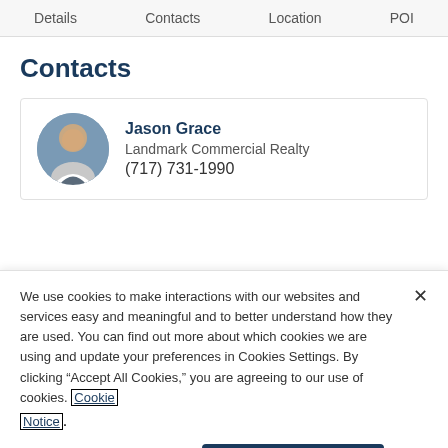Details  Contacts  Location  POI
Contacts
Jason Grace
Landmark Commercial Realty
(717) 731-1990
We use cookies to make interactions with our websites and services easy and meaningful and to better understand how they are used. You can find out more about which cookies we are using and update your preferences in Cookies Settings. By clicking “Accept All Cookies,” you are agreeing to our use of cookies. Cookie Notice.
Cookies Settings  Accept All Cookies